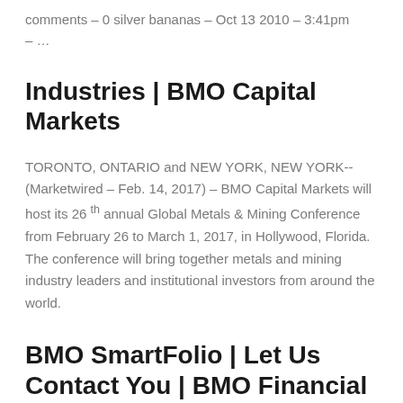comments - 0 silver bananas - Oct 13 2010 - 3:41pm - ...
Industries | BMO Capital Markets
TORONTO, ONTARIO and NEW YORK, NEW YORK--(Marketwired - Feb. 14, 2017) - BMO Capital Markets will host its 26 th annual Global Metals & Mining Conference from February 26 to March 1, 2017, in Hollywood, Florida. The conference will bring together metals and mining industry leaders and institutional investors from around the world.
BMO SmartFolio | Let Us Contact You | BMO Financial Group
You are not signed into BMO InvestorLine, or your